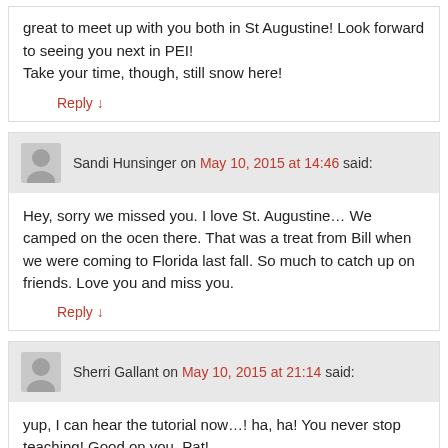great to meet up with you both in St Augustine! Look forward to seeing you next in PEI!
Take your time, though, still snow here!
Reply ↓
Sandi Hunsinger on May 10, 2015 at 14:46 said:
Hey, sorry we missed you. I love St. Augustine… We camped on the ocen there. That was a treat from Bill when we were coming to Florida last fall. So much to catch up on friends. Love you and miss you.
Reply ↓
Sherri Gallant on May 10, 2015 at 21:14 said:
yup, I can hear the tutorial now…! ha, ha! You never stop teaching! Good on you, Pat!
Great photos, and it looks lovely and warm there. Still cool and wet here on PEI, but lots of things going on so we're doing fine! Cheers!